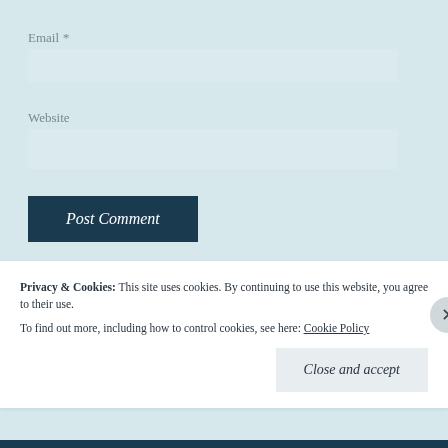Email *
Website
Post Comment
Notify me of new comments via email.
Privacy & Cookies:  This site uses cookies. By continuing to use this website, you agree to their use.
To find out more, including how to control cookies, see here: Cookie Policy
Close and accept